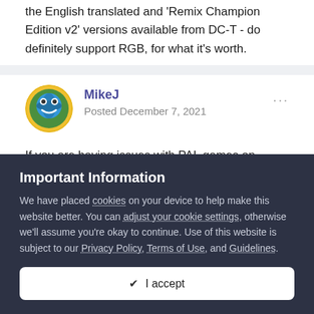the English translated and 'Remix Champion Edition v2' versions available from DC-T - do definitely support RGB, for what it's worth.
MikeJ
Posted December 7, 2021
If you are having issues with PAL games on NTSC consoles (usually weird image shifting or apparent sync problems) a lot of them can be solved by doing this:
Important Information
We have placed cookies on your device to help make this website better. You can adjust your cookie settings, otherwise we'll assume you're okay to continue. Use of this website is subject to our Privacy Policy, Terms of Use, and Guidelines.
✔ I accept